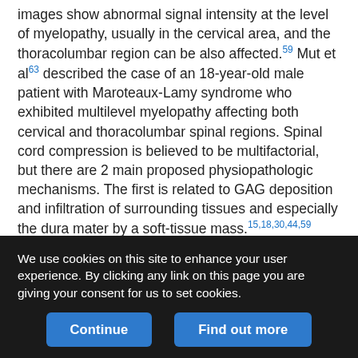images show abnormal signal intensity at the level of myelopathy, usually in the cervical area, and the thoracolumbar region can be also affected.59 Mut et al63 described the case of an 18-year-old male patient with Maroteaux-Lamy syndrome who exhibited multilevel myelopathy affecting both cervical and thoracolumbar spinal regions. Spinal cord compression is believed to be multifactorial, but there are 2 main proposed physiopathologic mechanisms. The first is related to GAG deposition and infiltration of surrounding tissues and especially the dura mater by a soft-tissue mass.15,18,30,44,59 This mass is typically iso- or hypointense on T1- and hypointense on T2-weighted images. MPS IV, VI, and I show a high propensity for dural thickening, while this finding has also been described to a lesser extent in patients with MPS II.16,55,61 The
We use cookies on this site to enhance your user experience. By clicking any link on this page you are giving your consent for us to set cookies.